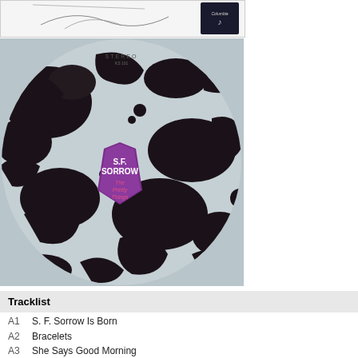[Figure (illustration): Partial view of album cover art with line drawing illustration and Columbia Records logo in top right corner]
[Figure (photo): Album cover of S.F. Sorrow by The Pretty Things - a circular design with black ink blot / splatter patterns on light grey/blue background, with a purple coffin-shaped logo in the center reading 'S.F. SORROW The Pretty Things'. Text 'STEREO' visible at top.]
Tracklist
A1  S. F. Sorrow Is Born
A2  Bracelets
A3  She Says Good Morning
A4  Private Sorrow